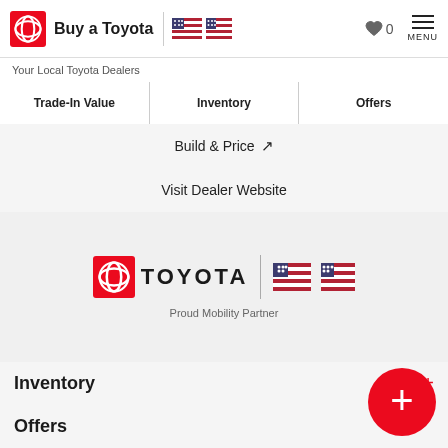Buy a Toyota | Your Local Toyota Dealers
Trade-In Value | Inventory | Offers
Build & Price ↗
Visit Dealer Website
[Figure (logo): Toyota logo with TOYOTA wordmark, US Olympic and Paralympic flags, Proud Mobility Partner]
Inventory
Offers